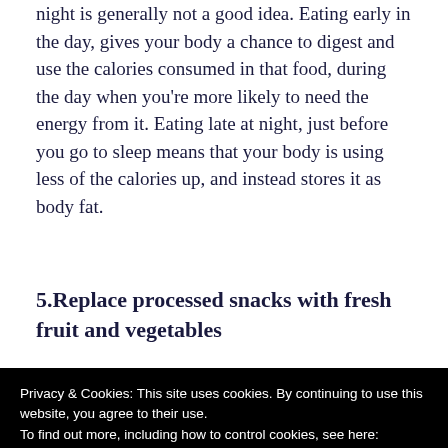night is generally not a good idea. Eating early in the day, gives your body a chance to digest and use the calories consumed in that food, during the day when you're more likely to need the energy from it. Eating late at night, just before you go to sleep means that your body is using less of the calories up, and instead stores it as body fat.
5.Replace processed snacks with fresh fruit and vegetables
Privacy & Cookies: This site uses cookies. By continuing to use this website, you agree to their use.
To find out more, including how to control cookies, see here:
Privacy & Cookie Policy
that your not significantly increasing you